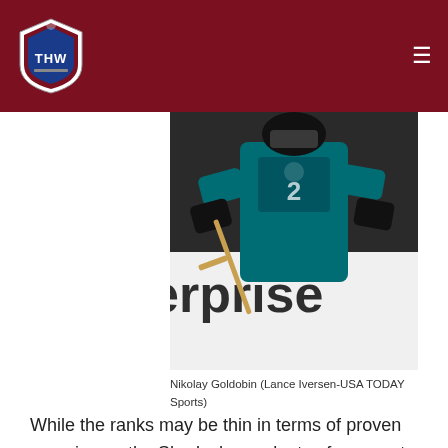THW (The Hockey Writers) navigation bar
[Figure (photo): Nikolay Goldobin in a San Jose Sharks teal jersey holding a hockey stick on ice, with 'erprise' visible in background advertising board]
Nikolay Goldobin (Lance Iversen-USA TODAY Sports)
While the ranks may be thin in terms of proven experience, the Sharks have plenty of prospects that could push for a job in San Jose. None of players most likely to push Nieto out have shown anything at the NHL level, yet. The more notable prospects are Nikolay Goldobin, Nikita Jevpalovs and Timo Meier. Joonas Donskoi, coming off a strong year playing for the Finnish league champions, will also get a long look. At 23,